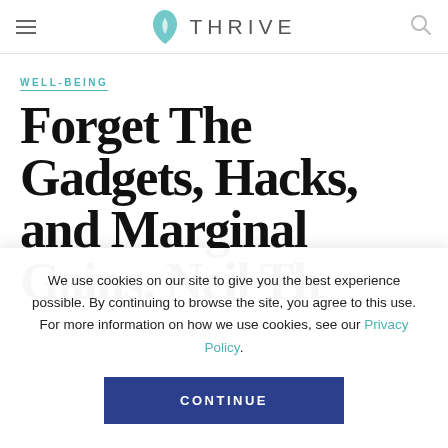THRIVE (navigation header with menu and search icons)
WELL-BEING
Forget The Gadgets, Hacks, and Marginal Gains. Neil Th…
We use cookies on our site to give you the best experience possible. By continuing to browse the site, you agree to this use. For more information on how we use cookies, see our Privacy Policy.
CONTINUE